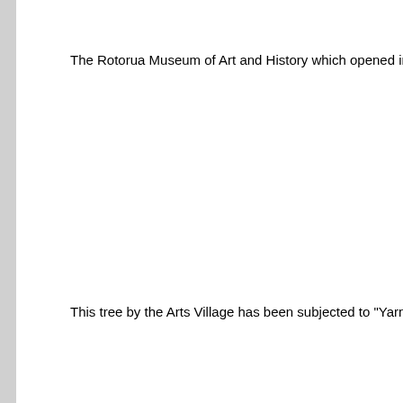The Rotorua Museum of Art and History which opened in 1908 as the
This tree by the Arts Village has been subjected to "Yarn Bombing".  L